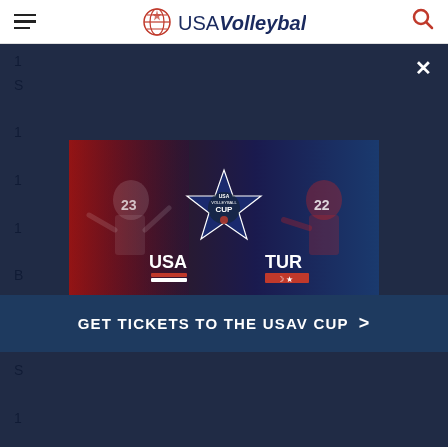USA Volleyball
[Figure (screenshot): USA Volleyball website with a modal popup showing a USA Cup advertisement featuring volleyball players from USA (#23) and Turkey (#22), with USA CUP VOLLEYBALL branding in the center. A 'GET TICKETS TO THE USAV CUP >' button appears below the image.]
California Los Angeles)
19 Taylor Averill (MB, 6-7, San Jose, Calif., Univ. of Hawaii)